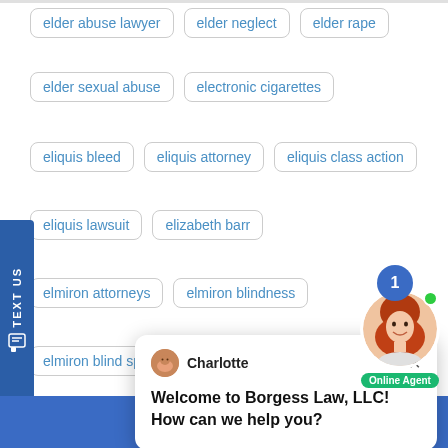elder abuse lawyer
elder neglect
elder rape
elder sexual abuse
electronic cigarettes
eliquis bleed
eliquis attorney
eliquis class action
eliquis lawsuit
elizabeth barr
elmiron attorneys
elmiron blindness
elmiron blind spot
elmiron blind spots
elmiron blurry
elmiron blurry vision
[Figure (screenshot): Chat popup with Charlotte agent saying Welcome to Borgess Law, LLC! How can we help you?]
[Figure (photo): Online agent photo with notification bubble showing 1 and green online dot, Online Agent label]
TEXT US
LIVE CHAT